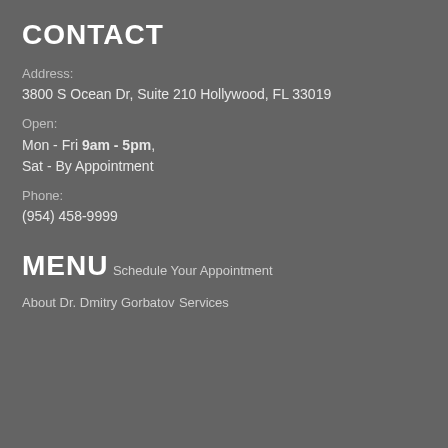CONTACT
Address:
3800 S Ocean Dr, Suite 210 Hollywood, FL 33019
Open:
Mon - Fri 9am - 5pm,
Sat - By Appointment
Phone:
(954) 458-9999
MENU
Schedule Your Appointment
About Dr. Dmitry Gorbatov
Services